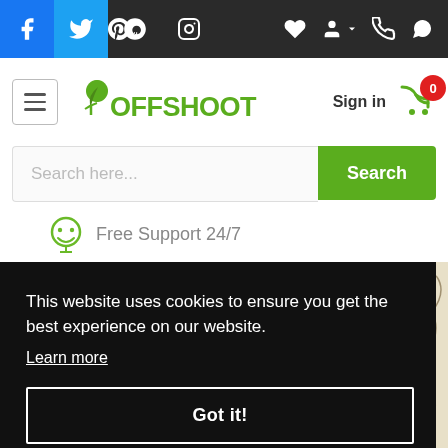Social media icons: Facebook, Twitter, Pinterest, Instagram; top navigation bar with heart, account, phone, share icons
[Figure (logo): Offshoot logo with green leaf and text OFFSHOOT in green]
Sign in
Search here...
Search
Free Support 24/7
This website uses cookies to ensure you get the best experience on our website. Learn more
Got it!